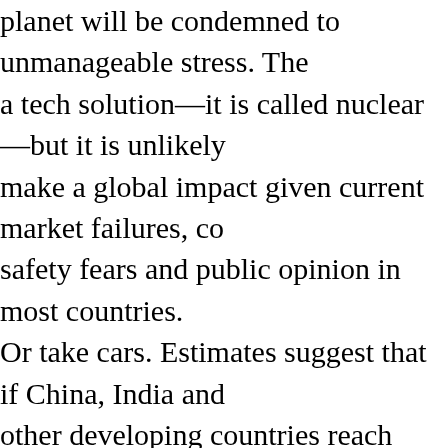planet will be condemned to unmanageable stress. The a tech solution—it is called nuclear—but it is unlikely make a global impact given current market failures, co safety fears and public opinion in most countries. Or take cars. Estimates suggest that if China, India and other developing countries reach western levels of car ownership, there could be 3 billion cars in the world, f times the current total, within four decades. Where wi fuel come from and what about their environmental im The hydrogen fuel car is a long way away and battery Teslas simply shift pollution/externalities elsewhere, a of burden shifting and at best will be toys for the 'eco- It is not a solution to public mobility challenges in the populated parts of the world. Five billion Asians drivin